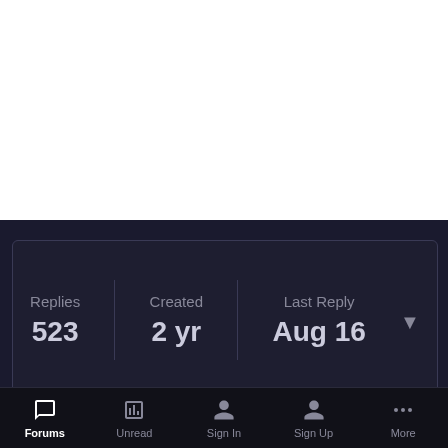[Figure (screenshot): White blank area at top of screen]
| Replies | Created | Last Reply |
| --- | --- | --- |
| 523 | 2 yr | Aug 16 |
Loli
Forums | Unread | Sign In | Sign Up | More